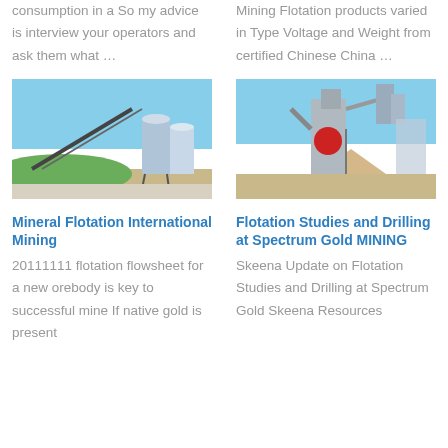consumption in a So my advice is interview your operators and ask them what …
Mining Flotation products varied in Type Voltage and Weight from certified Chinese China …
[Figure (photo): Industrial mineral processing facility with conveyor belt and blue silos against a blue sky]
[Figure (photo): Industrial mining plant with large machinery, conveyor systems and sand piles]
Mineral Flotation International Mining
20111111 flotation flowsheet for a new orebody is key to successful mine If native gold is present
Flotation Studies and Drilling at Spectrum Gold MINING
Skeena Update on Flotation Studies and Drilling at Spectrum Gold Skeena Resources